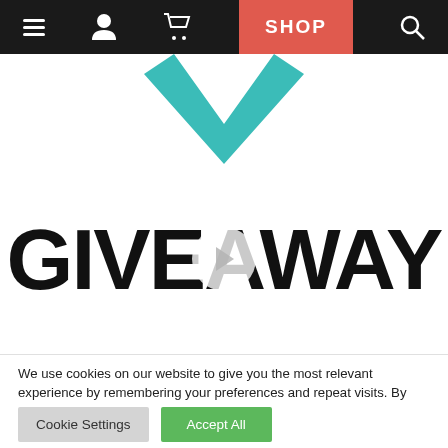Navigation bar with menu, user, cart icons, SHOP button, and search icon
[Figure (logo): Teal/green downward-pointing chevron checkmark logo, partially visible at top center]
[Figure (illustration): Large bold black text reading GIVEAWAY with a semi-transparent circular play button overlay in the center]
We use cookies on our website to give you the most relevant experience by remembering your preferences and repeat visits. By clicking “Accept All”, you consent to the use of ALL the cookies. However, you may visit "Cookie Settings" to provide a controlled consent.
Cookie Settings  Accept All